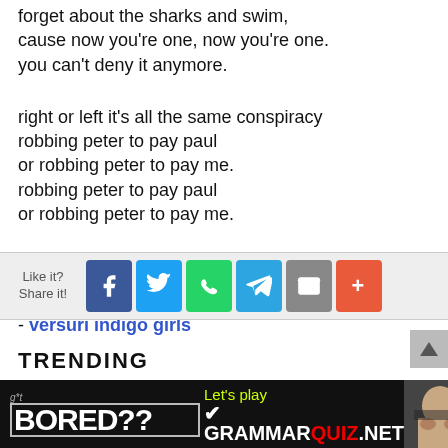forget about the sharks and swim,
cause now you're one, now you're one.
you can't deny it anymore.
right or left it's all the same conspiracy
robbing peter to pay paul
or robbing peter to pay me.
robbing peter to pay paul
or robbing peter to pay me.
you can't deny it anymore.
- versuri indigo girls
[Figure (infographic): Social share bar with Like it? Share it! label and buttons for Facebook, Twitter, WhatsApp, Telegram, Email, and More]
TRENDING
[Figure (infographic): Advertisement banner: got BORED?? Let's play GRAMMARQUIZ.NET with a woman covering her face photo]